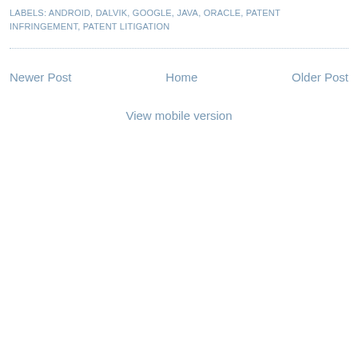LABELS: ANDROID, DALVIK, GOOGLE, JAVA, ORACLE, PATENT INFRINGEMENT, PATENT LITIGATION
Newer Post | Home | Older Post
View mobile version